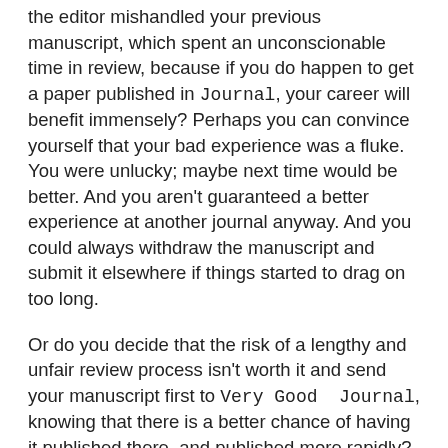the editor mishandled your previous manuscript, which spent an unconscionable time in review, because if you do happen to get a paper published in Journal, your career will benefit immensely? Perhaps you can convince yourself that your bad experience was a fluke. You were unlucky; maybe next time would be better. And you aren't guaranteed a better experience at another journal anyway. And you could always withdraw the manuscript and submit it elsewhere if things started to drag on too long.
Or do you decide that the risk of a lengthy and unfair review process isn't worth it and send your manuscript first to Very Good Journal, knowing that there is a better chance of having it published there, and published more rapidly? As long as the journal is well respected and in publication databases, people can find your paper.
So: Are the high impact journals so prestigious that it is worth sending manuscripts there, no matter how long the review and how incompetent the editorial process? Or are the risks of a long and fruitless review/editorial process too great, especially for early career scientists?